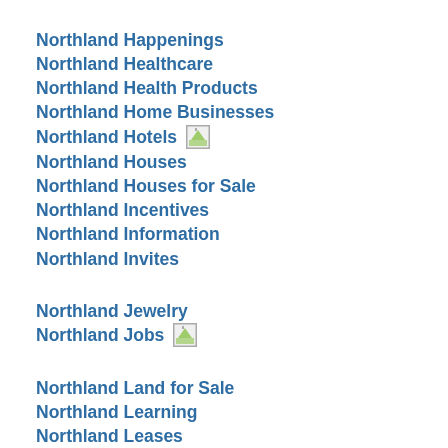Northland Happenings
Northland Healthcare
Northland Health Products
Northland Home Businesses
Northland Hotels [image]
Northland Houses
Northland Houses for Sale
Northland Incentives
Northland Information
Northland Invites
Northland Jewelry
Northland Jobs [image]
Northland Land for Sale
Northland Learning
Northland Leases